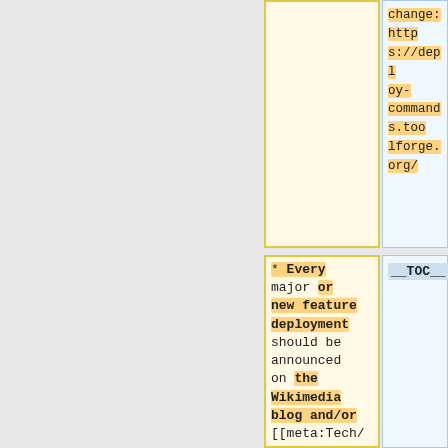change: https://deploy-commands.toolforge.org/
* Every major or new feature deployment should be announced on the Wikimedia blog and/or [[meta:Tech/News/Next|Tech News]] (use the [https://phabricator.wikimedia.org/p...
__TOC__